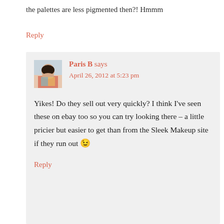the palettes are less pigmented then?! Hmmm
Reply
Paris B says
April 26, 2012 at 5:23 pm
Yikes! Do they sell out very quickly? I think I've seen these on ebay too so you can try looking there – a little pricier but easier to get than from the Sleek Makeup site if they run out 😉
Reply